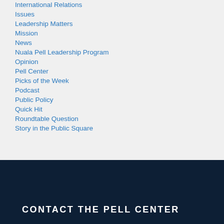International Relations
Issues
Leadership Matters
Mission
News
Nuala Pell Leadership Program
Opinion
Pell Center
Picks of the Week
Podcast
Public Policy
Quick Hit
Roundtable Question
Story in the Public Square
CONTACT THE PELL CENTER